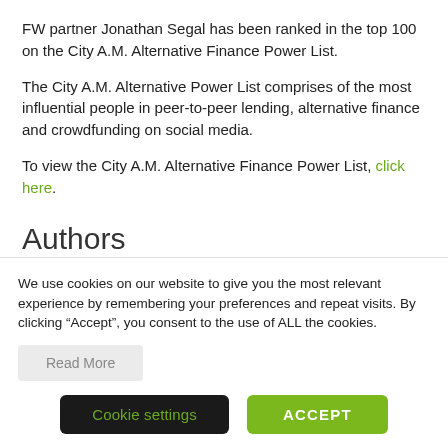FW partner Jonathan Segal has been ranked in the top 100 on the City A.M. Alternative Finance Power List.
The City A.M. Alternative Power List comprises of the most influential people in peer-to-peer lending, alternative finance and crowdfunding on social media.
To view the City A.M. Alternative Finance Power List, click here.
Authors
We use cookies on our website to give you the most relevant experience by remembering your preferences and repeat visits. By clicking “Accept”, you consent to the use of ALL the cookies.
Read More
Cookie settings
ACCEPT